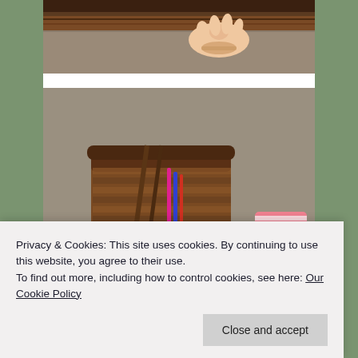[Figure (photo): Close-up photo of a baby's hand reaching toward a wicker basket edge, carpet visible in background]
[Figure (photo): Overhead view of a wicker basket with various items inside including sticks and colorful pencils, a toddler in a pink striped shirt reaching toward it on a carpeted floor]
Privacy & Cookies: This site uses cookies. By continuing to use this website, you agree to their use.
To find out more, including how to control cookies, see here: Our Cookie Policy
Close and accept